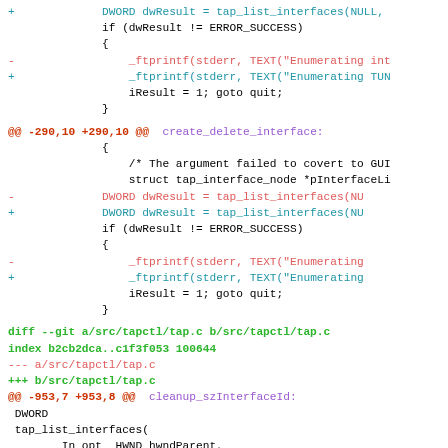Code diff showing changes to tap_list_interfaces calls, create_delete_interface hunk, and diff --git a/src/tapctl/tap.c b/src/tapctl/tap.c with cleanup_szInterfaceId hunk